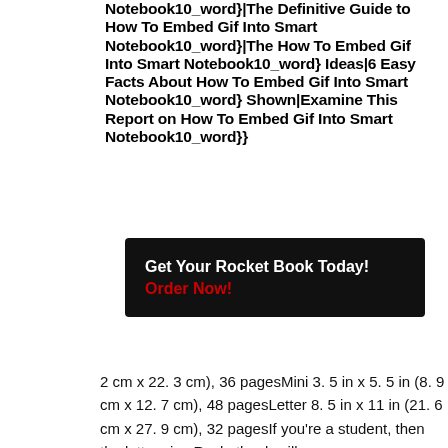Notebook10_word}|The Definitive Guide to How To Embed Gif Into Smart Notebook10_word}|The How To Embed Gif Into Smart Notebook10_word} Ideas|6 Easy Facts About How To Embed Gif Into Smart Notebook10_word} Shown|Examine This Report on How To Embed Gif Into Smart Notebook10_word}}
Get Your Rocket Book Today! Order Now!
2 cm x 22. 3 cm), 36 pagesMini 3. 5 in x 5. 5 in (8. 9 cm x 12. 7 cm), 48 pagesLetter 8. 5 in x 11 in (21. 6 cm x 27. 9 cm), 32 pagesIf you're a student, then the letter size Rocketbook will